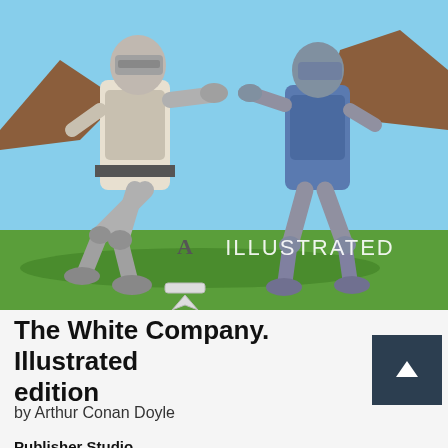[Figure (illustration): Illustrated book cover showing two medieval knights in armor fighting on a green field with a blue sky and brown rocky formations in the background. A decorative circular emblem with the letter A and a ribbon badge is visible in the lower left. The word ILLUSTRATED appears in the center-lower area of the image.]
The White Company. Illustrated edition
by Arthur Conan Doyle
Publisher Studio...